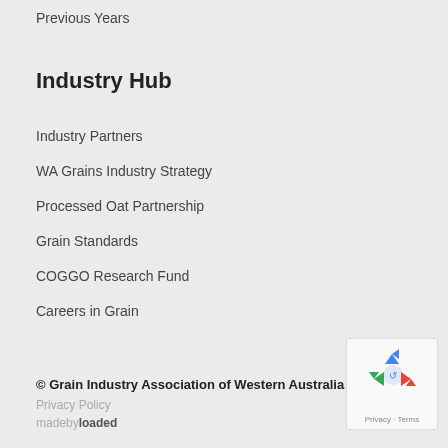Previous Years
Industry Hub
Industry Partners
WA Grains Industry Strategy
Processed Oat Partnership
Grain Standards
COGGO Research Fund
Careers in Grain
© Grain Industry Association of Western Australia 2022.
Privacy Policy
madebyloaded
[Figure (other): reCAPTCHA widget showing recycling arrows icon with Privacy and Terms links]